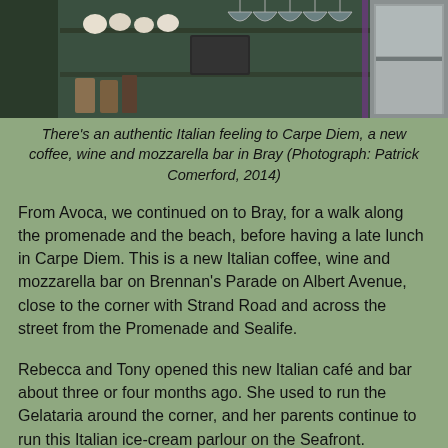[Figure (photo): Interior of Carpe Diem bar showing shelves with cups and glassware, wine glasses hanging overhead, and bar equipment]
There's an authentic Italian feeling to Carpe Diem, a new coffee, wine and mozzarella bar in Bray (Photograph: Patrick Comerford, 2014)
From Avoca, we continued on to Bray, for a walk along the promenade and the beach, before having a late lunch in Carpe Diem. This is a new Italian coffee, wine and mozzarella bar on Brennan's Parade on Albert Avenue, close to the corner with Strand Road and across the street from the Promenade and Sealife.
Rebecca and Tony opened this new Italian café and bar about three or four months ago. She used to run the Gelataria around the corner, and her parents continue to run this Italian ice-cream parlour on the Seafront.
Carpe Diem offers authentic Italian cuisine and is open every day from 10 a.m. to 11 p.m., and the specialities include Piadina, home-made Panini, croissants and pastries. Piadina